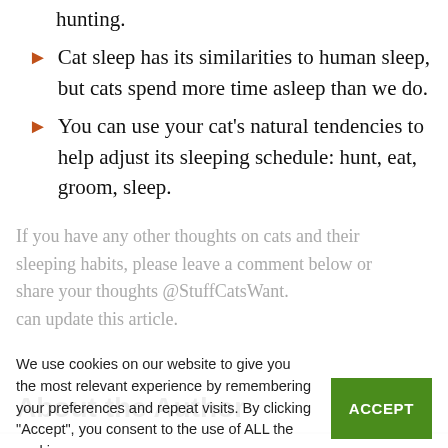hunting.
Cat sleep has its similarities to human sleep, but cats spend more time asleep than we do.
You can use your cat's natural tendencies to help adjust its sleeping schedule: hunt, eat, groom, sleep.
If you have any other thoughts on cats and their sleeping habits, please leave a comment below or share your thoughts @StuffCatsWant. can update this article.
We use cookies on our website to give you the most relevant experience by remembering your preferences and repeat visits. By clicking "Accept", you consent to the use of ALL the cookies.
About the Author
Craig is the founder and author of the cat blog